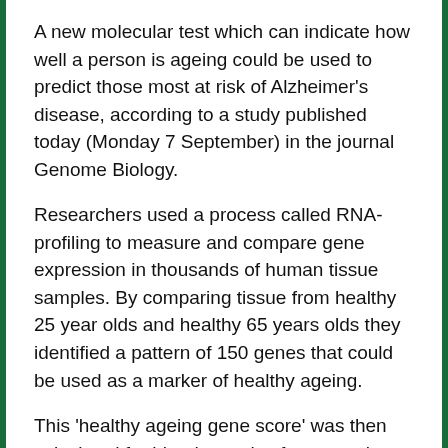A new molecular test which can indicate how well a person is ageing could be used to predict those most at risk of Alzheimer's disease, according to a study published today (Monday 7 September) in the journal Genome Biology.
Researchers used a process called RNA-profiling to measure and compare gene expression in thousands of human tissue samples. By comparing tissue from healthy 25 year olds and healthy 65 years olds they identified a pattern of 150 genes that could be used as a marker of healthy ageing.
This 'healthy ageing gene score' was then calculated for blood samples from people with Alzheimer's disease and healthy people of the same age. Those with Alzheimer's disease had significantly lower gene scores than the healthy controls, suggesting that this test has potential to identify people at a greater risk